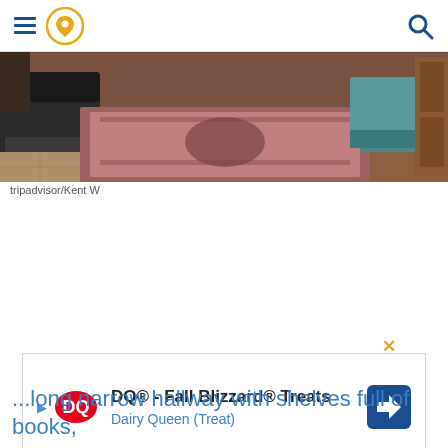[Figure (screenshot): Mobile app navigation bar with hamburger menu, location pin icon (orange), and search icon (blue) on the right]
[Figure (photo): Interior room photo showing chairs, a patterned rug, and teal ottoman/chairs near wooden furniture]
tripadvisor/Kent W
[Figure (screenshot): Advertisement for DQ® - Fall Blizzard® Treats by Dairy Queen (Treat) with DQ logo and navigation arrow]
...long narrow hallway with shelves full of books,